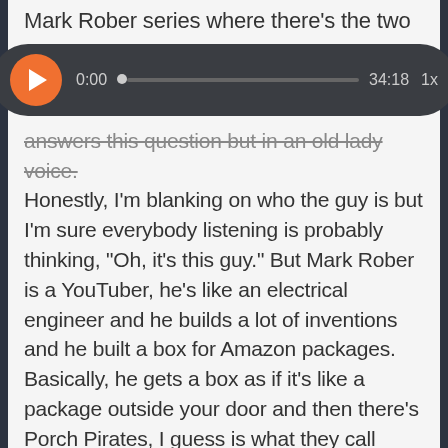Mark Rober series where there's the two
[Figure (screenshot): Audio player widget with orange play button, time showing 0:00, progress bar, total duration 34:18, and 1x speed control on dark rounded background]
answers this question but in an old lady voice. Honestly, I'm blanking on who the guy is but I'm sure everybody listening is probably thinking, "Oh, it's this guy." But Mark Rober is a YouTuber, he's like an electrical engineer and he builds a lot of inventions and he built a box for Amazon packages. Basically, he gets a box as if it's like a package outside your door and then there's Porch Pirates, I guess is what they call them.
He actually has a spinning glitter bomb, fart